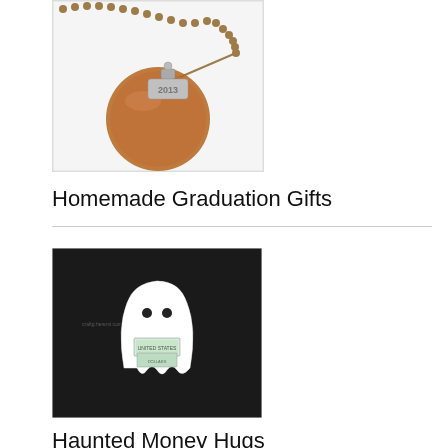[Figure (photo): Close-up photo of a copper penny and a silver dog tag engraved with '2013', hanging from a ball chain necklace against a white background.]
Homemade Graduation Gifts
[Figure (photo): Photo of a white ghost-shaped craft figure with two small black eyes, holding folded US dollar bills in its arms, set against a dark/black background.]
Haunted Money Hugs